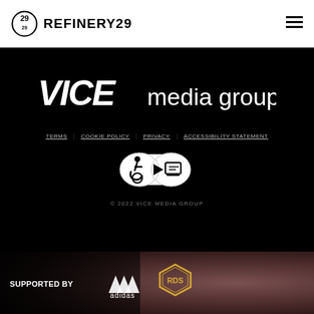REFINERY29
[Figure (logo): VICE media group logo — VICE in bold italic, media group in lighter weight, white text on black]
TERMS   COOKIE POLICY   PRIVACY   ACCESSIBILITY STATEMENT
[Figure (other): Accessibility icon badge — wheelchair symbol, play button, and monitor/captioning symbol inside an overlapping circles shape]
© 2022 VICE MEDIA GROUP
[Figure (other): Ad banner: SUPPORTED BY adidas and RDS logos with crowd background]